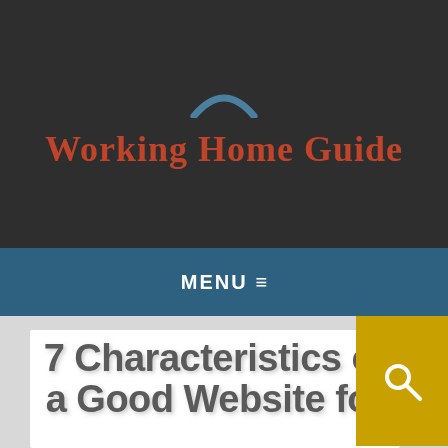Working Home Guide
MENU ≡
7 Characteristics of a Good Website for